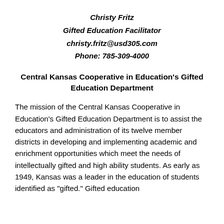Christy Fritz
Gifted Education Facilitator
christy.fritz@usd305.com
Phone: 785-309-4000
Central Kansas Cooperative in Education's Gifted Education Department
The mission of the Central Kansas Cooperative in Education's Gifted Education Department is to assist the educators and administration of its twelve member districts in developing and implementing academic and enrichment opportunities which meet the needs of intellectually gifted and high ability students. As early as 1949, Kansas was a leader in the education of students identified as "gifted." Gifted education